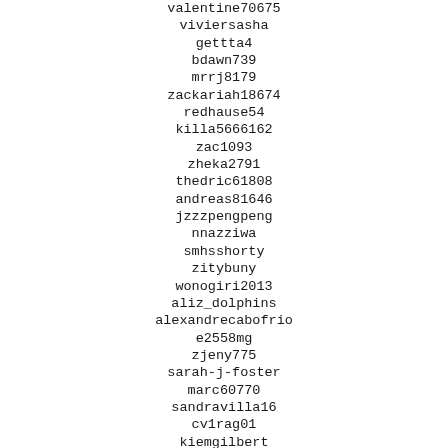valentine70675
viviersasha
gettta4
bdawn739
mrrj8179
zackariah18674
redhause54
killa5666162
zac1093
zheka2791
thedric61808
andreas81646
jzzzpengpeng
nnazziwa
smhsshorty
zitybuny
wonogiri2013
aliz_dolphins
alexandrecabofrio
e2558mg
zjeny775
sarah-j-foster
marc60770
sandravilla16
cv1rag01
kiemgilbert
vale61654
zaza054zaza
tevon.23
dario40707
donnie44467